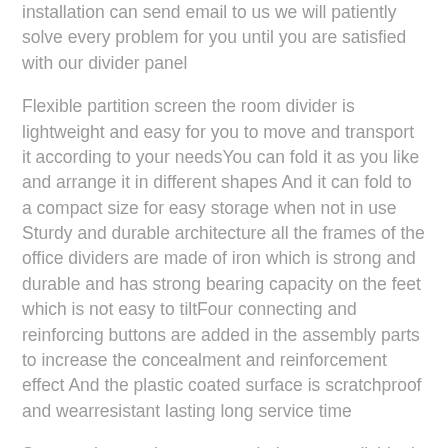installation can send email to us we will patiently solve every problem for you until you are satisfied with our divider panel
Flexible partition screen the room divider is lightweight and easy for you to move and transport it according to your needsYou can fold it as you like and arrange it in different shapes And it can fold to a compact size for easy storage when not in use Sturdy and durable architecture all the frames of the office dividers are made of iron which is strong and durable and has strong bearing capacity on the feet which is not easy to tiltFour connecting and reinforcing buttons are added in the assembly parts to increase the concealment and reinforcement effect And the plastic coated surface is scratchproof and wearresistant lasting long service time
Strong privacy privacy screen indoor room divider is made of water resistant fabric thick cloth opaque can very well protect your secret spaceIt is easy cleaning